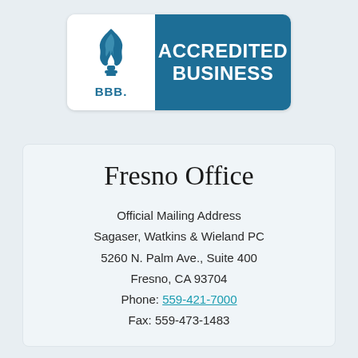[Figure (logo): BBB Accredited Business badge with torch flame icon on left and dark blue rectangle on right with white text 'ACCREDITED BUSINESS']
Fresno Office
Official Mailing Address
Sagaser, Watkins & Wieland PC
5260 N. Palm Ave., Suite 400
Fresno, CA 93704
Phone: 559-421-7000
Fax: 559-473-1483